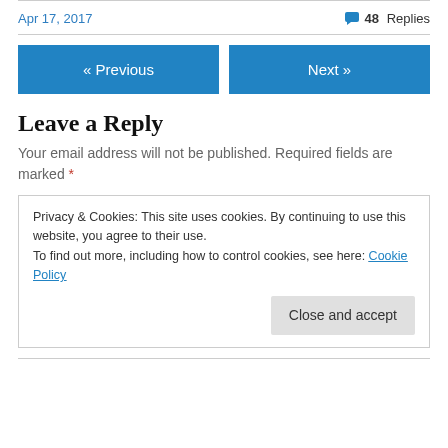Apr 17, 2017
48 Replies
« Previous
Next »
Leave a Reply
Your email address will not be published. Required fields are marked *
Privacy & Cookies: This site uses cookies. By continuing to use this website, you agree to their use. To find out more, including how to control cookies, see here: Cookie Policy
Close and accept